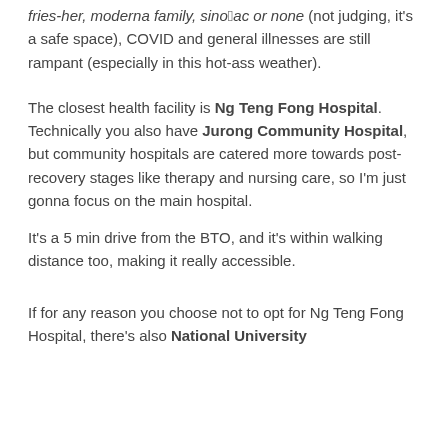fries-her, moderna family, sinophac or none (not judging, it's a safe space), COVID and general illnesses are still rampant (especially in this hot-ass weather).
The closest health facility is Ng Teng Fong Hospital. Technically you also have Jurong Community Hospital, but community hospitals are catered more towards post-recovery stages like therapy and nursing care, so I'm just gonna focus on the main hospital.
It's a 5 min drive from the BTO, and it's within walking distance too, making it really accessible.
If for any reason you choose not to opt for Ng Teng Fong Hospital, there's also National University